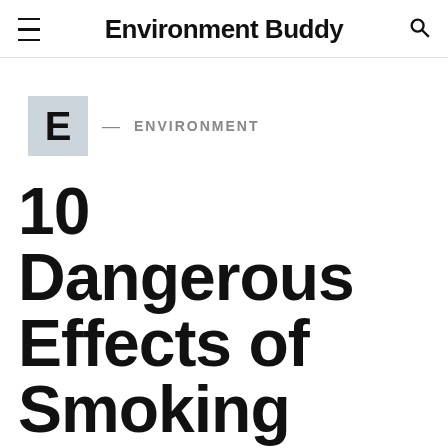Environment Buddy
ENVIRONMENT
10 Dangerous Effects of Smoking Cigarettes on Human Health as well as the